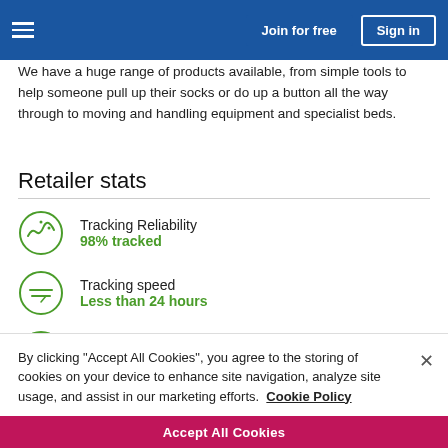Join for free | Sign in
We have a huge range of products available, from simple tools to help someone pull up their socks or do up a button all the way through to moving and handling equipment and specialist beds.
Retailer stats
Tracking Reliability
98% tracked
Tracking speed
Less than 24 hours
Payment Speed
Less than 2 months
By clicking “Accept All Cookies”, you agree to the storing of cookies on your device to enhance site navigation, analyze site usage, and assist in our marketing efforts.  Cookie Policy
Accept All Cookies